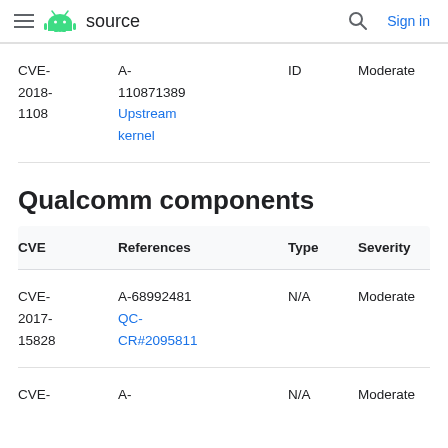≡ android source | Search | Sign in
| CVE | References | Type | Severity | Component |
| --- | --- | --- | --- | --- |
| CVE-2018-1108 | A-110871389 Upstream kernel | ID | Moderate | Crypto |
Qualcomm components
| CVE | References | Type | Severity | Component |
| --- | --- | --- | --- | --- |
| CVE-2017-15828 | A-68992481 QC-CR#2095811 | N/A | Moderate | EcoSystem |
| CVE- | A- | N/A | Moderate | Audio |